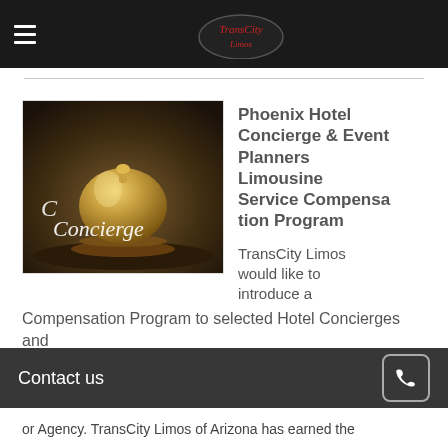TransCity Limos
[Figure (photo): Gold concierge service bell with cursive 'Concierge' text overlay on dark background]
Phoenix Hotel Concierge & Event Planners Limousine Service Compensation Program
TransCity Limos would like to introduce a Compensation Program to selected Hotel Concierges and
or Agency. TransCity Limos of Arizona has earned the
Contact us